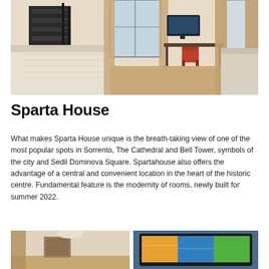[Figure (photo): Hotel room interior showing two beds with white linens, wooden shelving unit on the left, a wall-mounted TV in the center, a desk with an orange chair, and large windows with beige curtains letting in natural light. Wooden floor visible.]
Sparta House
What makes Sparta House unique is the breath-taking view of one of the most popular spots in Sorrento, The Cathedral and Bell Tower, symbols of the city and Sedil Dominova Square. Spartahouse also offers the advantage of a central and convenient location in the heart of the historic centre. Fundamental feature is the modernity of rooms, newly built for summer 2022.
[Figure (photo): Left bottom photo showing a room interior with curtains and a framed picture on the wall.]
[Figure (photo): Right bottom photo showing a close-up of a wall-mounted TV screen displaying colorful content.]